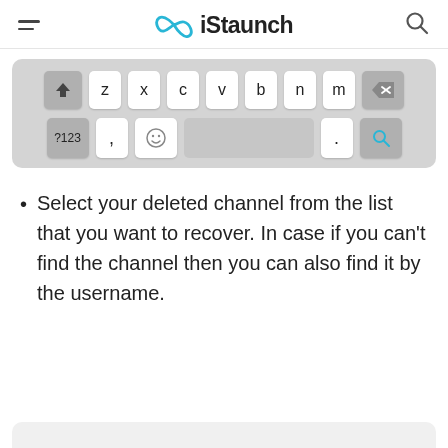iStaunch
[Figure (screenshot): Mobile keyboard screenshot showing bottom two rows: shift, z, x, c, v, b, n, m, delete row; and ?123, comma, emoji, spacebar, period, search row]
Select your deleted channel from the list that you want to recover. In case if you can't find the channel then you can also find it by the username.